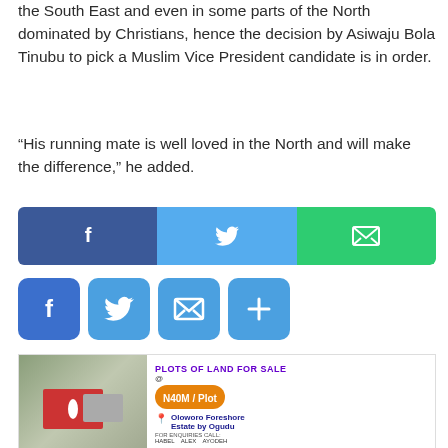the South East and even in some parts of the North dominated by Christians, hence the decision by Asiwaju Bola Tinubu to pick a Muslim Vice President candidate is in order.
“His running mate is well loved in the North and will make the difference,” he added.
[Figure (infographic): Social share bar with three buttons: Facebook (dark blue with f icon), Twitter (light blue with bird icon), Email/share (green with envelope icon)]
[Figure (infographic): Four square social share icon buttons: Facebook (blue f), Twitter (blue bird), Email (blue envelope), Add/More (blue plus sign)]
[Figure (infographic): Advertisement banner for Oloworo Foreshore Estate by Ogudu - Plots of Land for Sale at N40M/Plot]
Previous: Benue LG leaders deny making plan to defect to APC